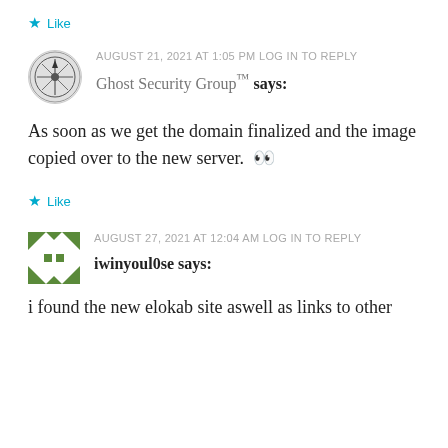★ Like
AUGUST 21, 2021 AT 1:05 PM LOG IN TO REPLY
Ghost Security Group™ says:
As soon as we get the domain finalized and the image copied over to the new server. 👀
★ Like
AUGUST 27, 2021 AT 12:04 AM LOG IN TO REPLY
iwinyoul0se says:
i found the new elokab site aswell as links to other